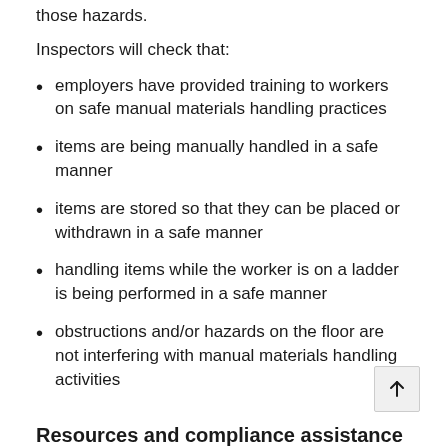those hazards.
Inspectors will check that:
employers have provided training to workers on safe manual materials handling practices
items are being manually handled in a safe manner
items are stored so that they can be placed or withdrawn in a safe manner
handling items while the worker is on a ladder is being performed in a safe manner
obstructions and/or hazards on the floor are not interfering with manual materials handling activities
Resources and compliance assistance